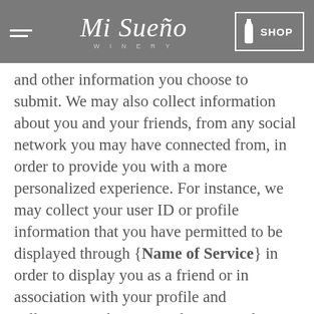Mi Sueño Winery — SHOP
and other information you choose to submit. We may also collect information about you and your friends, from any social network you may have connected from, in order to provide you with a more personalized experience. For instance, we may collect your user ID or profile information that you have permitted to be displayed through {Name of Service} in order to display you as a friend or in association with your profile and collections. When you order our products or services, you will need to submit your credit card or other payment information so